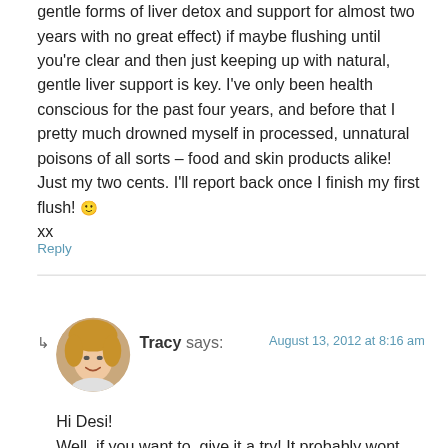gentle forms of liver detox and support for almost two years with no great effect) if maybe flushing until you're clear and then just keeping up with natural, gentle liver support is key. I've only been health conscious for the past four years, and before that I pretty much drowned myself in processed, unnatural poisons of all sorts – food and skin products alike!
Just my two cents. I'll report back once I finish my first flush! 🙂
xx
Reply
Tracy says:
August 13, 2012 at 8:16 am
Hi Desi!
Well, if you want to, give it a try! It probably wont hurt to try it once (although I admit I personally kind of regret it as I seem to be almost worse off now.) Let us know